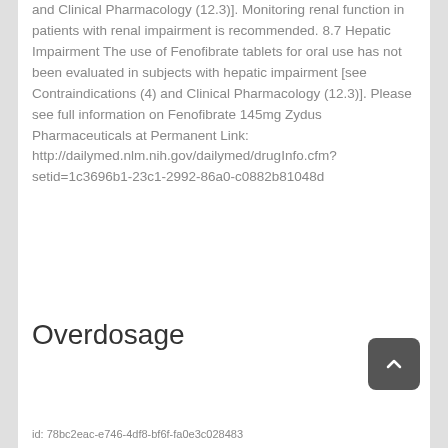and Clinical Pharmacology (12.3)]. Monitoring renal function in patients with renal impairment is recommended. 8.7 Hepatic Impairment The use of Fenofibrate tablets for oral use has not been evaluated in subjects with hepatic impairment [see Contraindications (4) and Clinical Pharmacology (12.3)]. Please see full information on Fenofibrate 145mg Zydus Pharmaceuticals at Permanent Link: http://dailymed.nlm.nih.gov/dailymed/drugInfo.cfm?setid=1c3696b1-23c1-2992-86a0-c0882b81048d
Overdosage
id: 78bc2eac-e746-4df8-bf6f-fa0e3c028483